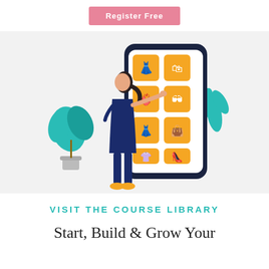[Figure (illustration): Pink button with white text 'Register Free' on white background at top of page]
[Figure (illustration): Illustration of a woman interacting with a large smartphone showing a fashion/shopping app with gold-colored category tiles (dress, heart, bikini, sunglasses, outfit, handbag, clothing, heels). Surrounded by green plants and teal foliage on a light gray background.]
VISIT THE COURSE LIBRARY
Start, Build & Grow Your